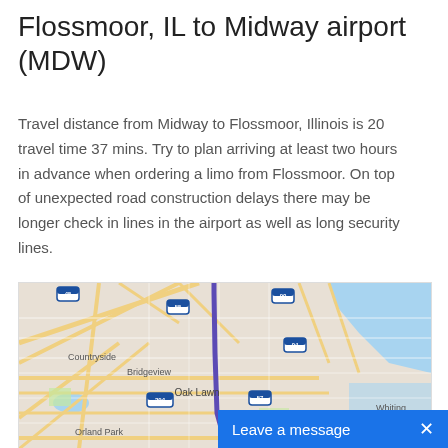Flossmoor, IL to Midway airport (MDW)
Travel distance from Midway to Flossmoor, Illinois is 20 travel time 37 mins. Try to plan arriving at least two hours in advance when ordering a limo from Flossmoor. On top of unexpected road construction delays there may be longer check in lines in the airport as well as long security lines.
[Figure (map): Map showing route from Flossmoor IL to Midway Airport (MDW). The route is highlighted in purple/blue running north-south through Oak Lawn area. Map shows highway markers including 45, 55, 90, 94, 294, 57. Neighborhoods/places labeled include Countryside, Bridgeview, Oak Lawn, Blue Island, Orland Park, Whiting. Lake Michigan visible in upper right.]
Leave a message  ×